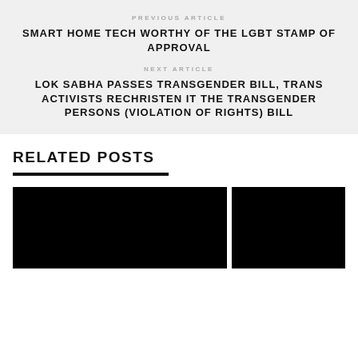PREVIOUS ARTICLE
SMART HOME TECH WORTHY OF THE LGBT STAMP OF APPROVAL
NEXT ARTICLE
LOK SABHA PASSES TRANSGENDER BILL, TRANS ACTIVISTS RECHRISTEN IT THE TRANSGENDER PERSONS (VIOLATION OF RIGHTS) BILL
RELATED POSTS
[Figure (photo): Black image thumbnail on the left for a related post]
[Figure (photo): Black image thumbnail on the right for a related post]